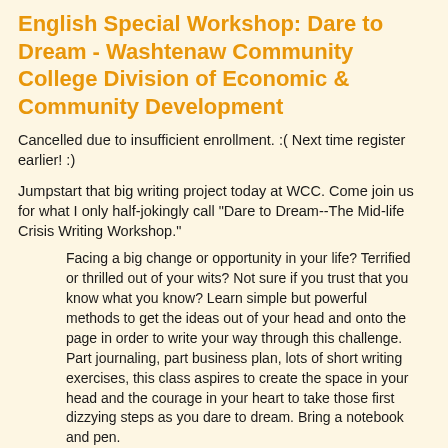English Special Workshop: Dare to Dream - Washtenaw Community College Division of Economic & Community Development
Cancelled due to insufficient enrollment. :(  Next time register earlier! :)
Jumpstart that big writing project today at WCC. Come join us for what I only half-jokingly call "Dare to Dream--The Mid-life Crisis Writing Workshop."
Facing a big change or opportunity in your life? Terrified or thrilled out of your wits? Not sure if you trust that you know what you know? Learn simple but powerful methods to get the ideas out of your head and onto the page in order to write your way through this challenge. Part journaling, part business plan, lots of short writing exercises, this class aspires to create the space in your head and the courage in your heart to take those first dizzying steps as you dare to dream. Bring a notebook and pen.